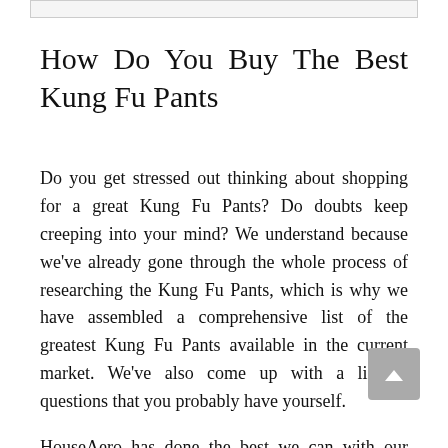How Do You Buy The Best Kung Fu Pants
Do you get stressed out thinking about shopping for a great Kung Fu Pants? Do doubts keep creeping into your mind? We understand because we've already gone through the whole process of researching the Kung Fu Pants, which is why we have assembled a comprehensive list of the greatest Kung Fu Pants available in the current market. We've also come up with a list of questions that you probably have yourself.
HouseAero has done the best we can with our thoughts and recommendations, but it's still